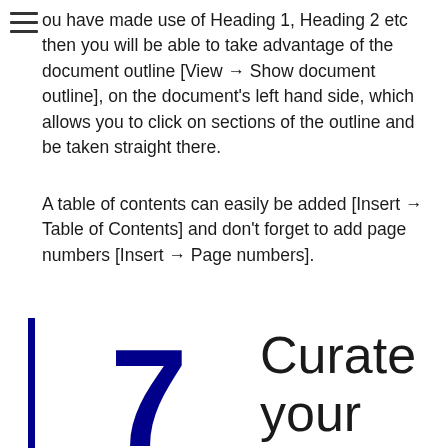ou have made use of Heading 1, Heading 2 etc then you will be able to take advantage of the document outline [View → Show document outline], on the document's left hand side, which allows you to click on sections of the outline and be taken straight there.
A table of contents can easily be added [Insert → Table of Contents] and don't forget to add page numbers [Insert → Page numbers].
7 Curate your 'essential selections'